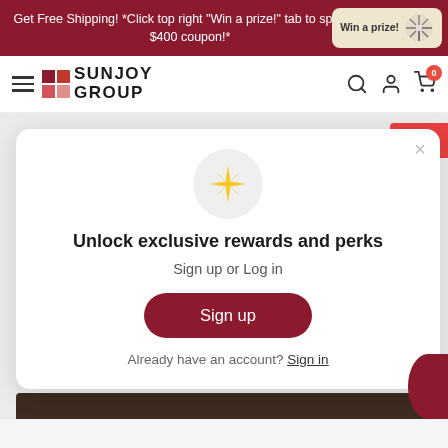Get Free Shipping! *Click top right "Win a prize!" tab to spin and $400 coupon!*
[Figure (logo): Sunjoy Group logo with colored squares grid]
Unlock exclusive rewards and perks
Sign up or Log in
Sign up
Already have an account? Sign in